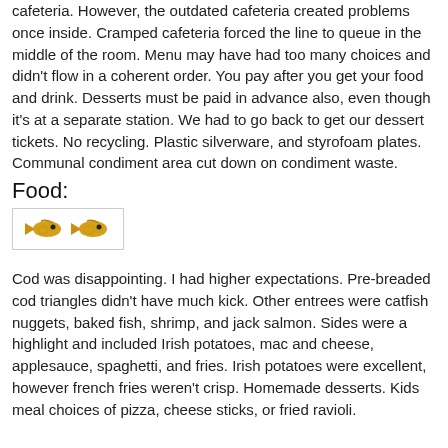cafeteria. However, the outdated cafeteria created problems once inside. Cramped cafeteria forced the line to queue in the middle of the room. Menu may have had too many choices and didn't flow in a coherent order. You pay after you get your food and drink. Desserts must be paid in advance also, even though it's at a separate station. We had to go back to get our dessert tickets. No recycling. Plastic silverware, and styrofoam plates. Communal condiment area cut down on condiment waste.
Food:
[Figure (illustration): Two small golden fish icons/emojis displayed in a bordered box as a rating indicator]
Cod was disappointing. I had higher expectations. Pre-breaded cod triangles didn't have much kick. Other entrees were catfish nuggets, baked fish, shrimp, and jack salmon. Sides were a highlight and included Irish potatoes, mac and cheese, applesauce, spaghetti, and fries. Irish potatoes were excellent, however french fries weren't crisp. Homemade desserts. Kids meal choices of pizza, cheese sticks, or fried ravioli.